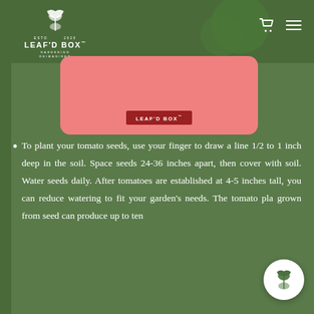LEAF'D BOX™ — GARDENING REIMAGINED
[Figure (logo): Leaf'd Box logo with plant/leaf icon, white text on dark green background]
[Figure (illustration): Pink rounded-rectangle card with LEAF'D BOX™ label in dark red]
To plant your tomato seeds, use your finger to draw a line 1/2 to 1 inch deep in the soil. Space seeds 24-36 inches apart, then cover with soil. Water seeds daily. After tomatoes are established at 4-5 inches tall, you can reduce watering to fit your garden's needs. The tomato pla grown from seed can produce up to ten